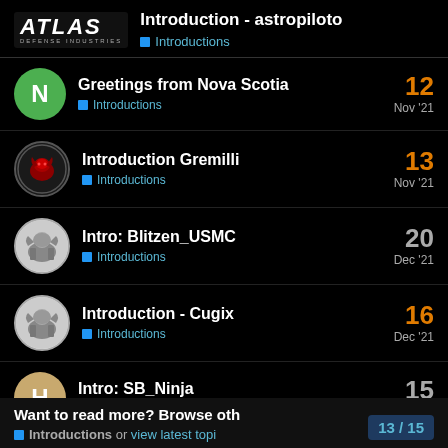Introduction - astropiloto / Introductions
Greetings from Nova Scotia | Introductions | 12 | Nov '21
Introduction Gremilli | Introductions | 13 | Nov '21
Intro: Blitzen_USMC | Introductions | 20 | Dec '21
Introduction - Cugix | Introductions | 16 | Dec '21
Intro: SB_Ninja | Introductions | 15 | Jan 24
Want to read more? Browse oth... Introductions or view latest topi... 13 / 15